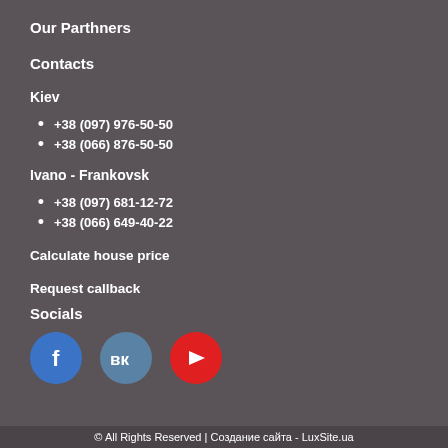Our Parthners
Contacts
Kiev
+38 (097) 976-50-50
+38 (066) 876-50-50
Ivano - Frankovsk
+38 (097) 681-12-72
+38 (066) 649-40-22
Calculate house price
Request callback
Socials
[Figure (logo): Social media icons: Facebook (blue circle with f), VK (blue-grey circle with VK logo), YouTube (red circle with play button)]
© All Rights Reserved | Создание сайта - LuxSite.ua